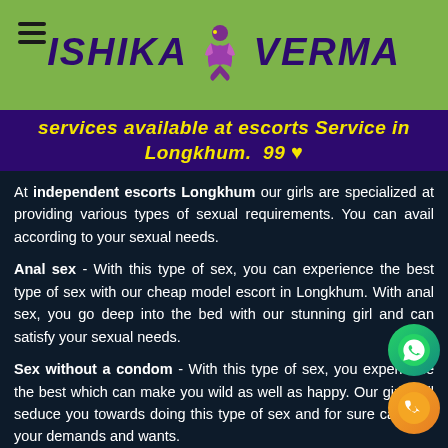ISHIKA VERMA
services available at escorts Service in Longkhum. 99 ♥
At independent escorts Longkhum our girls are specialized at providing various types of sexual requirements. You can avail according to your sexual needs.
Anal sex - With this type of sex, you can experience the best type of sex with our cheap model escort in Longkhum. With anal sex, you go deep into the bed with our stunning girl and can satisfy your sexual needs.
Sex without a condom - With this type of sex, you experience the best which can make you wild as well as happy. Our girls will seduce you towards doing this type of sex and for sure can fulfil your demands and wants.